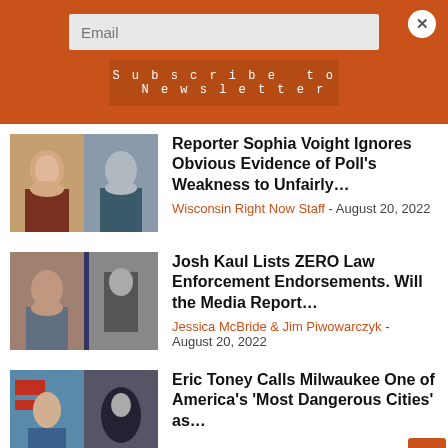Email
Subscribe to Newsletter
Reporter Sophia Voight Ignores Obvious Evidence of Poll’s Weakness to Unfairly…
Wisconsin Right Now Staff - August 20, 2022
Josh Kaul Lists ZERO Law Enforcement Endorsements. Will the Media Report…
Jessica McBride & Jim Piwowarczyk - August 20, 2022
Eric Toney Calls Milwaukee One of America’s ‘Most Dangerous Cities’ as…